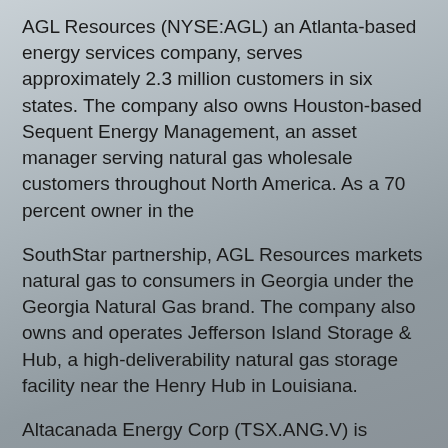AGL Resources (NYSE:AGL) an Atlanta-based energy services company, serves approximately 2.3 million customers in six states. The company also owns Houston-based Sequent Energy Management, an asset manager serving natural gas wholesale customers throughout North America. As a 70 percent owner in the
SouthStar partnership, AGL Resources markets natural gas to consumers in Georgia under the Georgia Natural Gas brand. The company also owns and operates Jefferson Island Storage & Hub, a high-deliverability natural gas storage facility near the Henry Hub in Louisiana.
Altacanada Energy Corp (TSX.ANG.V) is engaged in the acquisition, exploitation and production of crude oil and natural gas reserves in Western Canada and Montana.
Altai Resources Inc. (TSX.ATI.V) is a Canadian resource company with a diversified portfolio of natural gas, gold, nickel and industrial mineral properties in Canada and the Philippines. Altai is the only company which holds the largest land package with 100% interest in the heart of the St.